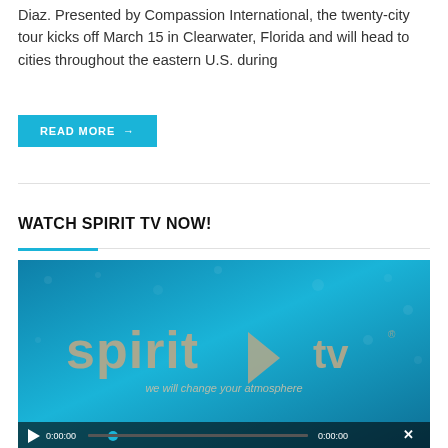Diaz. Presented by Compassion International, the twenty-city tour kicks off March 15 in Clearwater, Florida and will head to cities throughout the eastern U.S. during
READ MORE →
WATCH SPIRIT TV NOW!
[Figure (screenshot): Spirit TV video player screenshot showing the Spirit TV logo with tagline 'we will change your atmosphere' on a teal/blue background, with video playback controls showing timestamps 0:00:00 at bottom.]